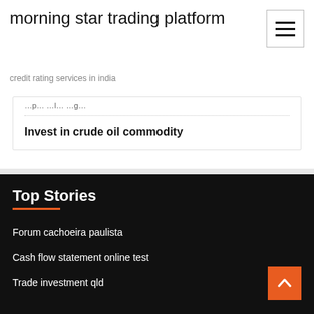morning star trading platform
credit rating services in india
Invest in crude oil commodity
Top Stories
Forum cachoeira paulista
Cash flow statement online test
Trade investment qld